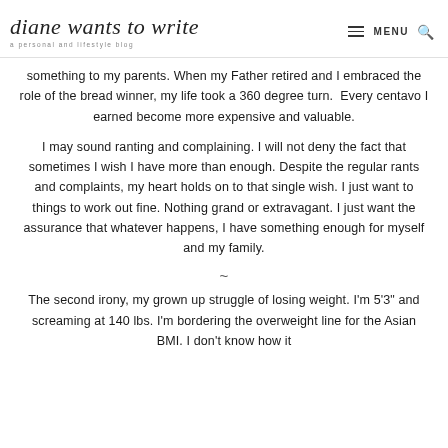diane wants to write — a personal and lifestyle blog | MENU 🔍
something to my parents. When my Father retired and I embraced the role of the bread winner, my life took a 360 degree turn.  Every centavo I earned become more expensive and valuable.
I may sound ranting and complaining. I will not deny the fact that sometimes I wish I have more than enough. Despite the regular rants and complaints, my heart holds on to that single wish. I just want to things to work out fine. Nothing grand or extravagant. I just want the assurance that whatever happens, I have something enough for myself and my family.
~
The second irony, my grown up struggle of losing weight. I'm 5'3" and screaming at 140 lbs. I'm bordering the overweight line for the Asian BMI. I don't know how it